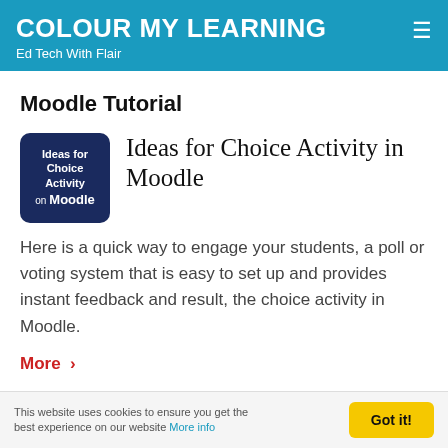COLOUR MY LEARNING
Ed Tech With Flair
Moodle Tutorial
[Figure (logo): Dark blue rounded rectangle thumbnail with white text reading 'Ideas for Choice Activity on Moodle']
Ideas for Choice Activity in Moodle
Here is a quick way to engage your students, a poll or voting system that is easy to set up and provides instant feedback and result, the choice activity in Moodle.
More >
This website uses cookies to ensure you get the best experience on our website More info